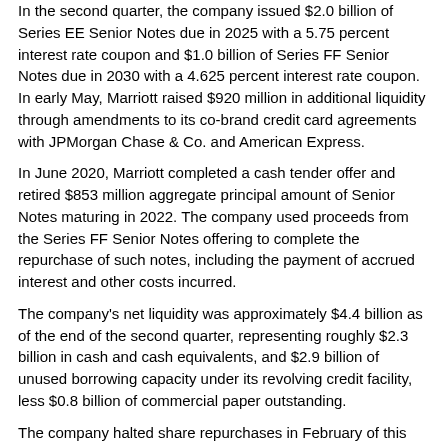In the second quarter, the company issued $2.0 billion of Series EE Senior Notes due in 2025 with a 5.75 percent interest rate coupon and $1.0 billion of Series FF Senior Notes due in 2030 with a 4.625 percent interest rate coupon.  In early May, Marriott raised $920 million in additional liquidity through amendments to its co-brand credit card agreements with JPMorgan Chase & Co. and American Express.
In June 2020, Marriott completed a cash tender offer and retired $853 million aggregate principal amount of Senior Notes maturing in 2022.  The company used proceeds from the Series FF Senior Notes offering to complete the repurchase of such notes, including the payment of accrued interest and other costs incurred.
The company's net liquidity was approximately $4.4 billion as of the end of the second quarter, representing roughly $2.3 billion in cash and cash equivalents, and $2.9 billion of unused borrowing capacity under its revolving credit facility, less $0.8 billion of commercial paper outstanding.
The company halted share repurchases in February of this year and suspended its quarterly dividend beginning in the second quarter.
COVID-19
Due to the numerous uncertainties associated with COVID-19, Marriott cannot presently estimate the financial impact of this unprecedented situation, which is highly dependent on the severity and duration of the